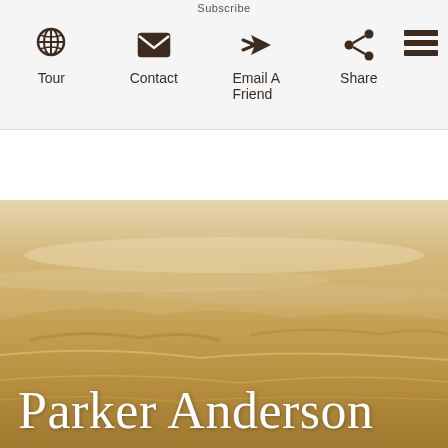Subscribe
[Figure (screenshot): Navigation bar with icons: Tour (globe icon), Contact (envelope icon), Email A Friend (reply icon), Share (share icon), and hamburger menu]
[Figure (photo): Desert landscape with sandy dunes and hazy sky in warm golden-brown tones]
Parker Anderson